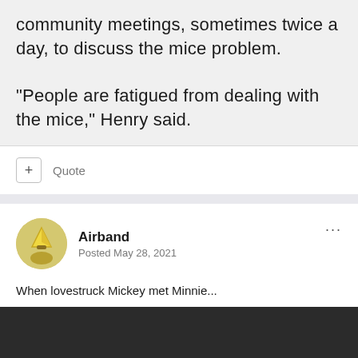community meetings, sometimes twice a day, to discuss the mice problem.

“People are fatigued from dealing with the mice,” Henry said.
+ Quote
Airband
Posted May 28, 2021
When lovestruck Mickey met Minnie...
[Figure (photo): Dark/black image placeholder at bottom of post]